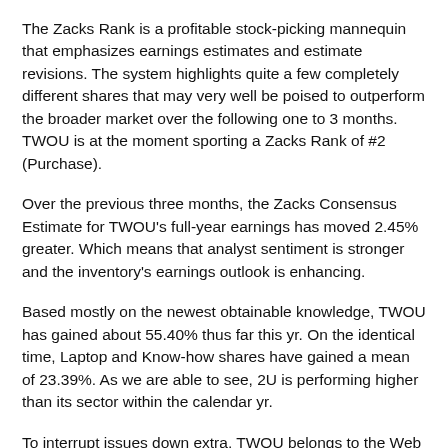The Zacks Rank is a profitable stock-picking mannequin that emphasizes earnings estimates and estimate revisions. The system highlights quite a few completely different shares that may very well be poised to outperform the broader market over the following one to 3 months. TWOU is at the moment sporting a Zacks Rank of #2 (Purchase).
Over the previous three months, the Zacks Consensus Estimate for TWOU's full-year earnings has moved 2.45% greater. Which means that analyst sentiment is stronger and the inventory's earnings outlook is enhancing.
Based mostly on the newest obtainable knowledge, TWOU has gained about 55.40% thus far this yr. On the identical time, Laptop and Know-how shares have gained a mean of 23.39%. As we are able to see, 2U is performing higher than its sector within the calendar yr.
To interrupt issues down extra, TWOU belongs to the Web – Software program business, a gaggle that features 92 particular person firms and at the moment sits at #165 within the Zacks Business Rank. On common, shares on